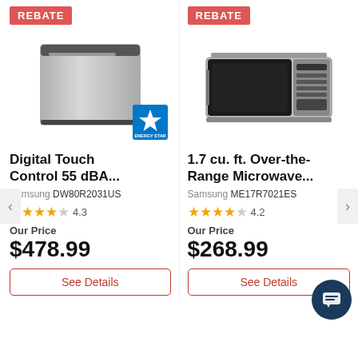[Figure (photo): Samsung dishwasher stainless steel with ENERGY STAR badge, REBATE label above]
Digital Touch Control 55 dBA...
Samsung DW80R2031US
4.3 stars
Our Price
$478.99
See Details
[Figure (photo): Samsung over-the-range microwave stainless steel, REBATE label above]
1.7 cu. ft. Over-the-Range Microwave...
Samsung ME17R7021ES
4.2 stars
Our Price
$268.99
See Details